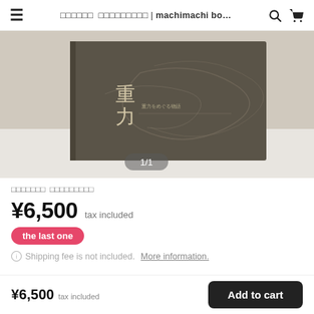≡  □□□□□□  □□□□□□□□ | machimachi bo...  🔍  🛒
[Figure (photo): A dark olive/brown colored book or booklet with the Chinese characters 重力 (gravity) and decorative swirling lines on the cover, placed on a light background. A pagination indicator shows '1/1'.]
□□□□□□□  □□□□□□□□□
¥6,500 tax included
the last one
ℹ Shipping fee is not included. More information.
□□□□□□□□□  1997□  200p  A4  □□□
¥6,500 tax included  Add to cart